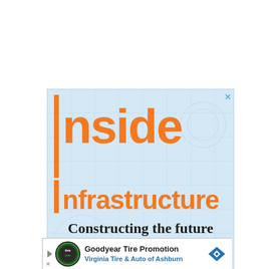[Figure (illustration): Advertisement banner for Inside Infrastructure by The Washington Times, with orange bold text 'Inside Infrastructure', black text 'Constructing the future', Washington Times masthead, and a red CLICK HERE button, on a light blue background with blueprint-style graphics. Has a close X button in top right corner.]
[Figure (illustration): Advertisement unit for Goodyear Tire Promotion - Virginia Tire & Auto of Ashburn, with circular Tire Auto logo on left, text in center, and blue diamond arrow icon on right.]